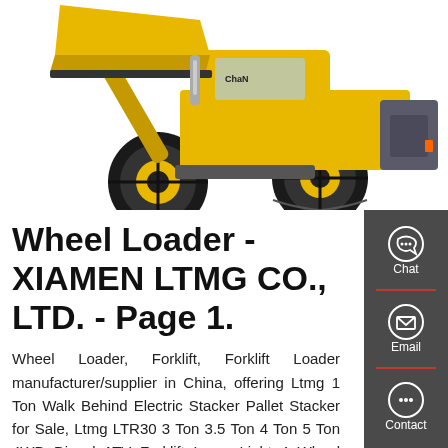[Figure (photo): Yellow wheel loader / front-end loader construction machine photographed from the rear-right angle, showing large black tires, yellow body, grey counterweight, and bucket raised at front. White background.]
Wheel Loader - XIAMEN LTMG CO., LTD. - Page 1.
Wheel Loader, Forklift, Forklift Loader manufacturer/supplier in China, offering Ltmg 1 Ton Walk Behind Electric Stacker Pallet Stacker for Sale, Ltmg LTR30 3 Ton 3.5 Ton 4 Ton 5 Ton 4WD Diesel ATV Forklift Laser Light 4 Wheel Drive Rough Terrain Forklift Egypt, Ltmg New Price of Forklift 2.5 Tton 4.5 Ton 8 T 8 Ton Diesel Forklift with White Environmental Protection Solid Tire and so on.